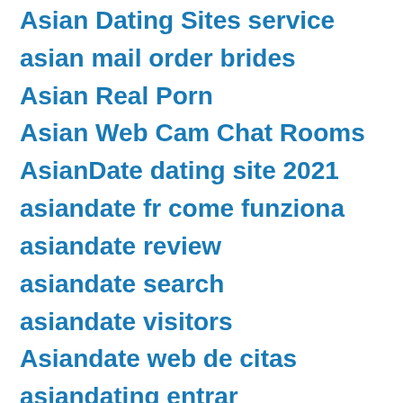Asian Dating Sites service
asian mail order brides
Asian Real Porn
Asian Web Cam Chat Rooms
AsianDate dating site 2021
asiandate fr come funziona
asiandate review
asiandate search
asiandate visitors
Asiandate web de citas
asiandating entrar
asiandating kosten